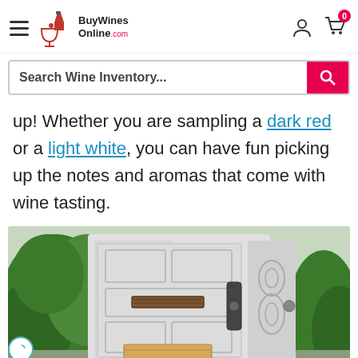BuyWinesOnline.com — navigation header with hamburger menu, logo, user icon, and cart icon (0 items)
Search Wine Inventory...
up! Whether you are sampling a dark red or a light white, you can have fun picking up the notes and aromas that come with wine tasting.
[Figure (photo): Photo of a white front door with glass side panels, a mail slot, a smart lock, a delivery box on the doorstep, and green bushes on the left side.]